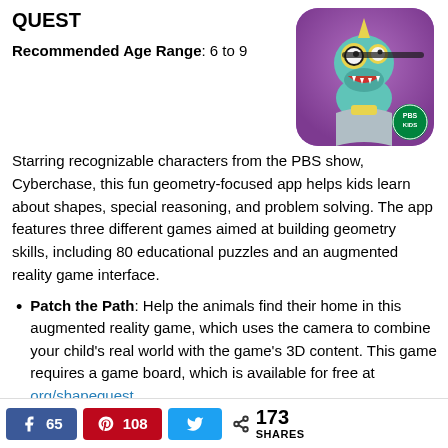QUEST
Recommended Age Range: 6 to 9
Starring recognizable characters from the PBS show, Cyberchase, this fun geometry-focused app helps kids learn about shapes, special reasoning, and problem solving. The app features three different games aimed at building geometry skills, including 80 educational puzzles and an augmented reality game interface.
[Figure (illustration): App icon for Cyberchase Shape Quest featuring a green cartoon dinosaur character with yellow goggles against a purple background, with PBS Kids badge]
Patch the Path: Help the animals find their home in this augmented reality game, which uses the camera to combine your child's real world with the game's 3D content. This game requires a game board, which is available for free at org/shapequest.
Facebook 65  Pinterest 108  Twitter  < 173 SHARES